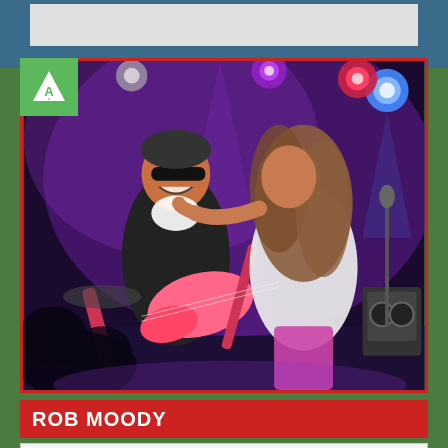[Figure (photo): Concert photo of Rob Moody on stage with sunglasses and a pink/red electric guitar, with a woman with long curly hair embracing him from behind. Stage lights including purple, blue, and red lights visible in background.]
ROB MOODY
Allways a pleasure featuring at...